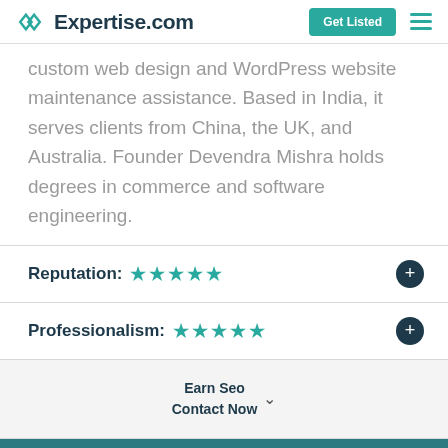Expertise.com | Get Listed
custom web design and WordPress website maintenance assistance. Based in India, it serves clients from China, the UK, and Australia. Founder Devendra Mishra holds degrees in commerce and software engineering.
Reputation: ★★★★★
Professionalism: ★★★★★
Earn Seo
Contact Now
[Figure (other): Teal bottom bar with For Providers pill button]